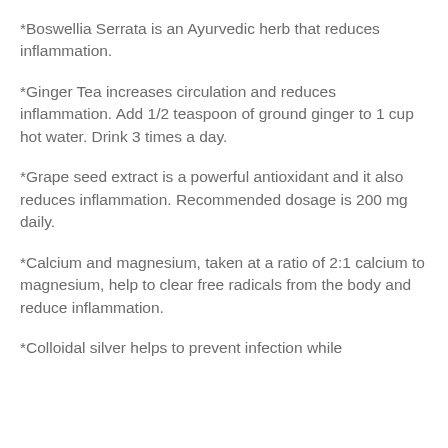*Boswellia Serrata is an Ayurvedic herb that reduces inflammation.
*Ginger Tea increases circulation and reduces inflammation. Add 1/2 teaspoon of ground ginger to 1 cup hot water. Drink 3 times a day.
*Grape seed extract is a powerful antioxidant and it also reduces inflammation. Recommended dosage is 200 mg daily.
*Calcium and magnesium, taken at a ratio of 2:1 calcium to magnesium, help to clear free radicals from the body and reduce inflammation.
*Colloidal silver helps to prevent infection while